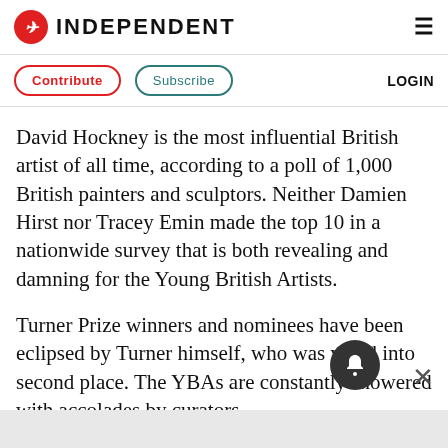INDEPENDENT
Contribute  Subscribe  LOGIN
David Hockney is the most influential British artist of all time, according to a poll of 1,000 British painters and sculptors. Neither Damien Hirst nor Tracey Emin made the top 10 in a nationwide survey that is both revealing and damning for the Young British Artists.
Turner Prize winners and nominees have been eclipsed by Turner himself, who was voted into second place. The YBAs are constantly showered with accolades by curators,